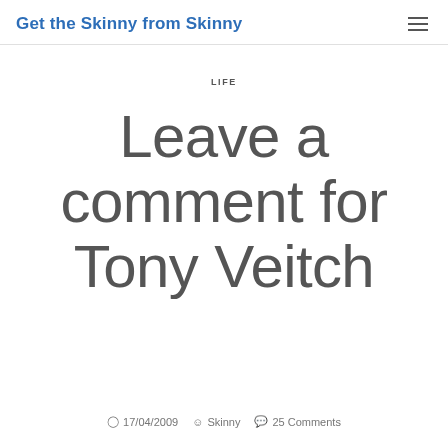Get the Skinny from Skinny
LIFE
Leave a comment for Tony Veitch
17/04/2009  Skinny  25 Comments